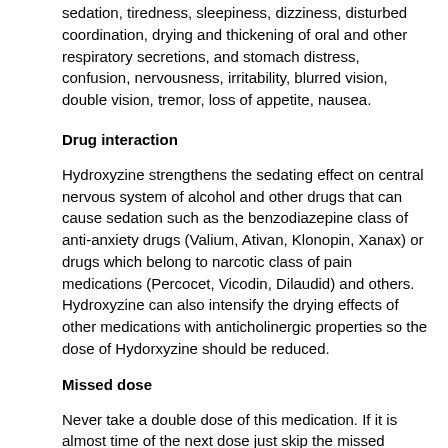sedation, tiredness, sleepiness, dizziness, disturbed coordination, drying and thickening of oral and other respiratory secretions, and stomach distress, confusion, nervousness, irritability, blurred vision, double vision, tremor, loss of appetite, nausea.
Drug interaction
Hydroxyzine strengthens the sedating effect on central nervous system of alcohol and other drugs that can cause sedation such as the benzodiazepine class of anti-anxiety drugs (Valium, Ativan, Klonopin, Xanax) or drugs which belong to narcotic class of pain medications (Percocet, Vicodin, Dilaudid) and others. Hydroxyzine can also intensify the drying effects of other medications with anticholinergic properties so the dose of Hydorxyzine should be reduced.
Missed dose
Never take a double dose of this medication. If it is almost time of the next dose just skip the missed portion and continue to take the medicine according to the schedule.
Overdose
Hypersedation, tremor, convulsions, spasms, hallucinations, delir......, confusion, hypotension, nausea, vomit. General treatment includes